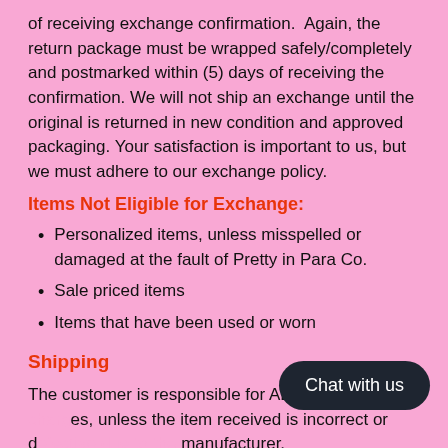of receiving exchange confirmation. Again, the return package must be wrapped safely/completely and postmarked within (5) days of receiving the confirmation. We will not ship an exchange until the original is returned in new condition and approved packaging. Your satisfaction is important to us, but we must adhere to our exchange policy.
Items Not Eligible for Exchange:
Personalized items, unless misspelled or damaged at the fault of Pretty in Para Co.
Sale priced items
Items that have been used or worn
Shipping
The customer is responsible for ALL retu[rn shipping charg]es, unless the item received is incorrect or d[efective due to the] manufacturer.